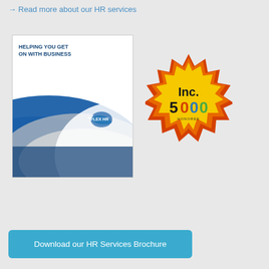→ Read more about our HR services
[Figure (illustration): Flex HR brochure cover with blue swooping design and logo, titled HELPING YOU GET ON WITH BUSINESS]
[Figure (logo): Inc. 5000 honoree badge — starburst shape in red, orange, and yellow with Inc. 5000 text]
Download our HR Services Brochure